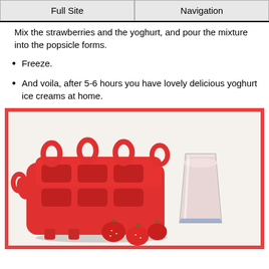Full Site | Navigation
Mix the strawberries and the yoghurt, and pour the mixture into the popsicle forms.
Freeze.
And voila, after 5-6 hours you have lovely delicious yoghurt ice creams at home.
[Figure (photo): A red silicone popsicle mold with multiple cavities and loop handles, alongside a glass of pink strawberry yogurt and fresh strawberries on a white surface.]